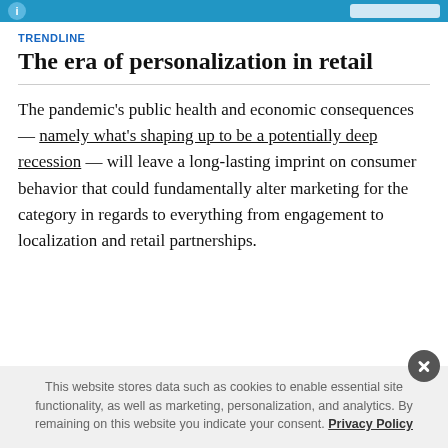TRENDLINE
The era of personalization in retail
The pandemic's public health and economic consequences — namely what's shaping up to be a potentially deep recession — will leave a long-lasting imprint on consumer behavior that could fundamentally alter marketing for the category in regards to everything from engagement to localization and retail partnerships.
This website stores data such as cookies to enable essential site functionality, as well as marketing, personalization, and analytics. By remaining on this website you indicate your consent. Privacy Policy